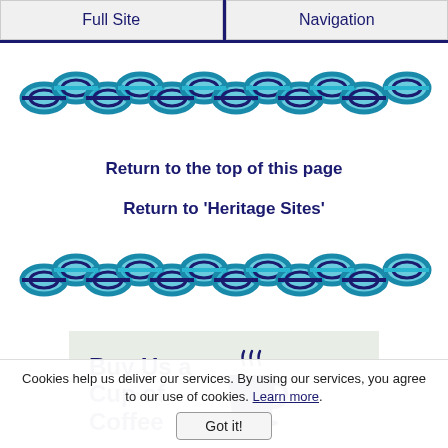Full Site | Navigation
[Figure (illustration): Repeating Celtic knot wave border pattern in teal and dark blue]
Return to the top of this page
Return to 'Heritage Sites'
[Figure (illustration): Repeating Celtic knot wave border pattern in teal and dark blue]
[Figure (illustration): Buy Us a Cup of Coffee box with coffee cup icon]
Cookies help us deliver our services. By using our services, you agree to our use of cookies. Learn more. Got it!